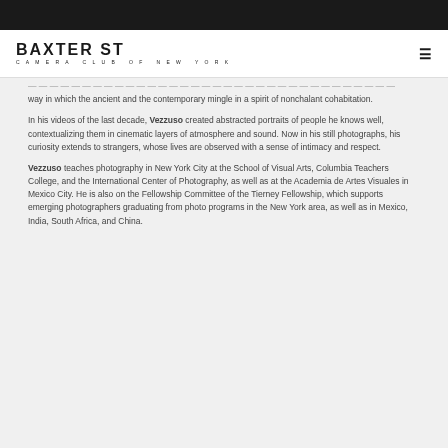BAXTER ST CAMERA CLUB OF NEW YORK
way in which the ancient and the contemporary mingle in a spirit of nonchalant cohabitation.
In his videos of the last decade, Vezzuso created abstracted portraits of people he knows well, contextualizing them in cinematic layers of atmosphere and sound. Now in his still photographs, his curiosity extends to strangers, whose lives are observed with a sense of intimacy and respect.
Vezzuso teaches photography in New York City at the School of Visual Arts, Columbia Teachers College, and the International Center of Photography, as well as at the Academia de Artes Visuales in Mexico City. He is also on the Fellowship Committee of the Tierney Fellowship, which supports emerging photographers graduating from photo programs in the New York area, as well as in Mexico, India, South Africa, and China.